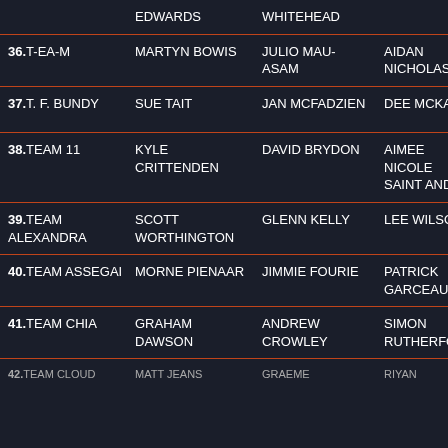| Team | Person 1 | Person 2 | Person 3 | Person 4 |
| --- | --- | --- | --- | --- |
|  | EDWARDS | WHITEHEAD |  | \ |
| 36. T-EA-M | MARTYN BOWIS | JULIO MAU-ASAM | AIDAN NICHOLAS | A N |
| 37. T. F. BUNDY | SUE TAIT | JAN MCFADZIEN | DEE MCKAY | A L |
| 38. TEAM 11 | KYLE CRITTENDEN | DAVID BRYDON | AIMEE NICOLE SAINT ANDRE | S T |
| 39. TEAM ALEXANDRA | SCOTT WORTHINGTON | GLENN KELLY | LEE WILSON | V W |
| 40. TEAM ASSEGAI | MORNE PIENAAR | JIMMIE FOURIE | PATRICK GARCEAU | N Z |
| 41. TEAM CHIA | GRAHAM DAWSON | ANDREW CROWLEY | SIMON RUTHERFORD | R |
| 42. TEAM CLOUD | MATT JEANS | GRAEME | RIYAN |  |